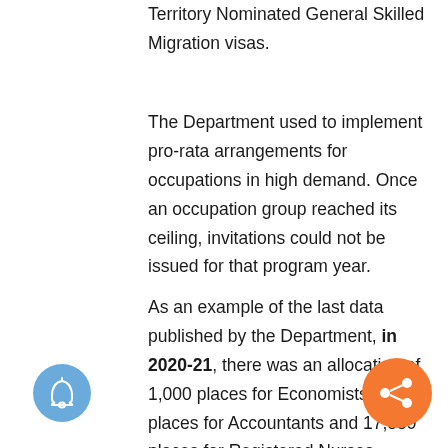Territory Nominated General Skilled Migration visas.
The Department used to implement pro-rata arrangements for occupations in high demand. Once an occupation group reached its ceiling, invitations could not be issued for that program year.
As an example of the last data published by the Department, in 2020-21, there was an allocation of 1,000 places for Economists, 1,000 places for Accountants and 17,859 places for Registered Nurses. However, from the Occupation Ceilings website (which